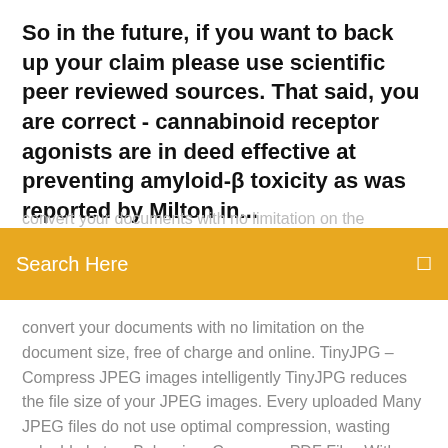So in the future, if you want to back up your claim please use scientific peer reviewed sources. That said, you are correct - cannabinoid receptor agonists are in deed effective at preventing amyloid-β toxicity as was reported by Milton in...
[Figure (other): Orange search bar UI element with 'Search Here' placeholder text and a search icon]
convert your documents with no limitation on the document size, free of charge and online. TinyJPG – Compress JPEG images intelligently TinyJPG reduces the file size of your JPEG images. Every uploaded Many JPEG files do not use optimal compression, wasting valuable bytes. Balancing  Compress PDF Files With NXPowerLite | Neuxpower Compress PDF files with no file size limits, no watermarks and no email registration. Download Reduce PDF File Size Up To 95% Or try our free online tool.